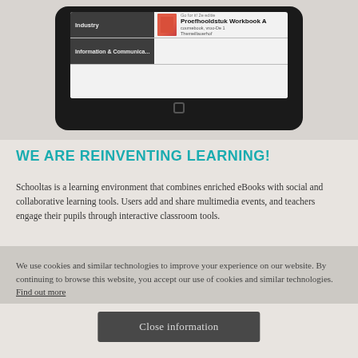[Figure (screenshot): Tablet device showing a digital learning platform with categories 'Industry' and 'Information & Communica...' on the left, and a book titled 'Proefhooldstuk Workbook A' with subtitle 'coursebook, vroo-De 1 Themeillauerhof' on the right]
WE ARE REINVENTING LEARNING!
Schooltas is a learning environment that combines enriched eBooks with social and collaborative learning tools. Users add and share multimedia events, and teachers engage their pupils through interactive classroom tools.
We use cookies and similar technologies to improve your experience on our website. By continuing to browse this website, you accept our use of cookies and similar technologies. Find out more
Close information